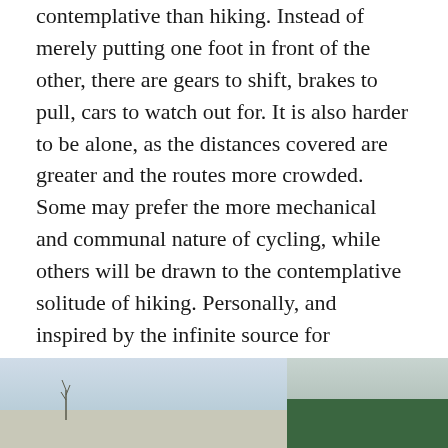contemplative than hiking. Instead of merely putting one foot in front of the other, there are gears to shift, brakes to pull, cars to watch out for. It is also harder to be alone, as the distances covered are greater and the routes more crowded. Some may prefer the more mechanical and communal nature of cycling, while others will be drawn to the contemplative solitude of hiking. Personally, and inspired by the infinite source for contemporary wisdom of Calvin & Hobbes, I enjoy both.
[Figure (photo): Two side-by-side outdoor photos at the bottom of the page. Left photo shows a light sky with sparse tree branches visible. Right photo shows green hillside with trees against a pale sky.]